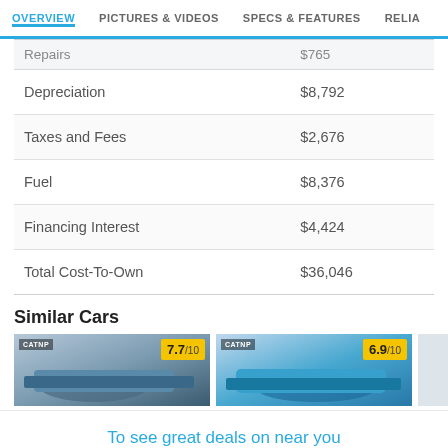OVERVIEW | PICTURES & VIDEOS | SPECS & FEATURES | RELIA
|  |  |
| --- | --- |
| Repairs | $765 |
| Depreciation | $8,792 |
| Taxes and Fees | $2,676 |
| Fuel | $8,376 |
| Financing Interest | $4,424 |
| Total Cost-To-Own | $36,046 |
Similar Cars
[Figure (photo): Car photo card with score badge 7.7/10]
[Figure (photo): Car photo card with score badge 6.9/10]
To see great deals on near you
Enter your zip | Submit